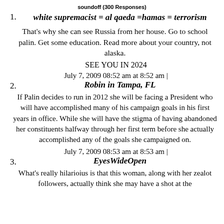soundoff (300 Responses)
1. white supremacist = al qaeda =hamas = terrorism
That's why she can see Russia from her house. Go to school palin. Get some education. Read more about your country, not alaska.
SEE YOU IN 2024
July 7, 2009 08:52 am at 8:52 am |
2. Robin in Tampa, FL
If Palin decides to run in 2012 she will be facing a President who will have accomplished many of his campaign goals in his first years in office. While she will have the stigma of having abandoned her constituents halfway through her first term before she actually accomplished any of the goals she campaigned on.
July 7, 2009 08:53 am at 8:53 am |
3. EyesWideOpen
What's really hilarioius is that this woman, along with her zealot followers, actually think she may have a shot at the